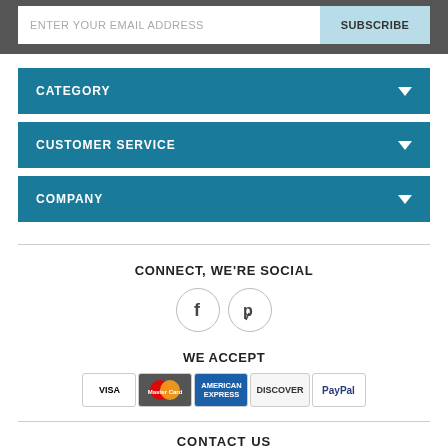[Figure (screenshot): Email subscribe bar with input field and SUBSCRIBE button on dark grey background]
CATEGORY
CUSTOMER SERVICE
COMPANY
CONNECT, WE'RE SOCIAL
[Figure (illustration): Facebook and Pinterest social media icons in circular outlines]
WE ACCEPT
[Figure (illustration): Payment method icons: VISA, MasterCard, American Express, Discover, PayPal]
CONTACT US
Nevada: (702) 613 4660